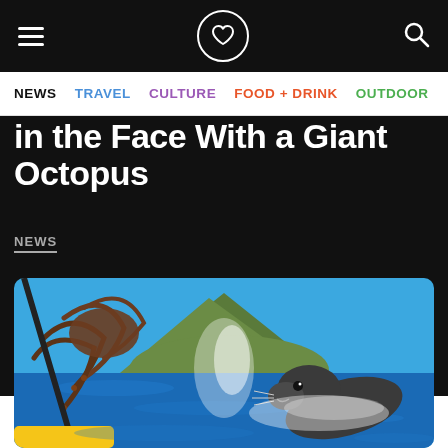Navigation bar with hamburger menu, logo, and search icon
NEWS  TRAVEL  CULTURE  FOOD + DRINK  OUTDOOR
in the Face With a Giant Octopus
NEWS
[Figure (photo): A seal slapping a kayaker in the face with a giant octopus on open water, with a hill and another kayaker in the background]